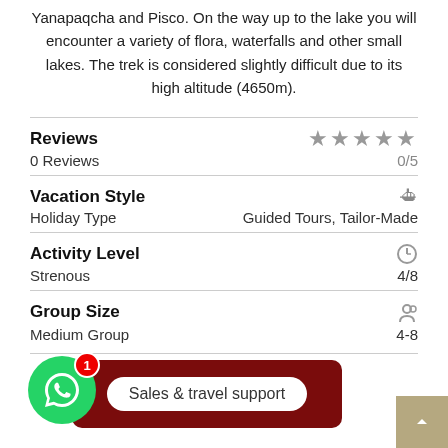Yanapaqcha and Pisco. On the way up to the lake you will encounter a variety of flora, waterfalls and other small lakes. The trek is considered slightly difficult due to its high altitude (4650m).
Reviews
0 Reviews
0/5
Vacation Style
Holiday Type
Guided Tours, Tailor-Made
Activity Level
Strenous
4/8
Group Size
Medium Group
4-8
Sales & travel support